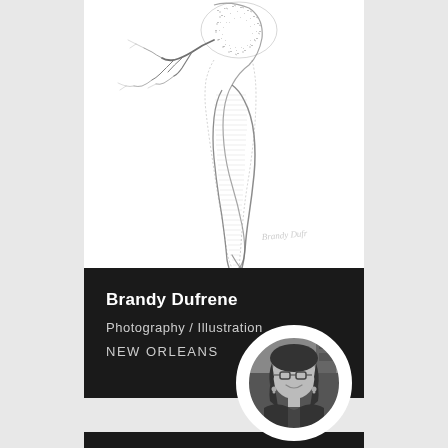[Figure (illustration): Pencil or charcoal illustration of a human leg and lower torso, rendered in fine stippling/hatching technique. The figure is bent with tree-like root branches extending from the upper portion. An artist's signature appears in the lower right area of the artwork. Black and white illustration on white background.]
Brandy Dufrene
Photography / Illustration
NEW ORLEANS
[Figure (photo): Circular portrait photo of a woman with dark hair, glasses, and a smile, shown in black and white. She appears to be indoors.]